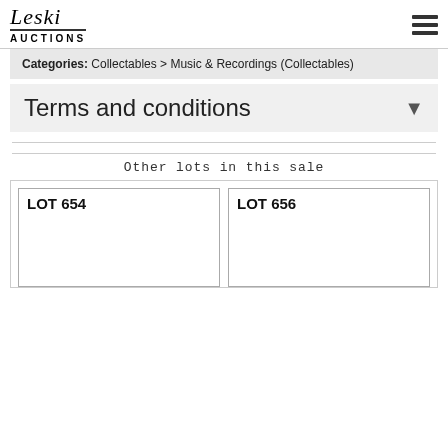Leski AUCTIONS
Categories: Collectables > Music & Recordings (Collectables)
Terms and conditions
Other lots in this sale
LOT 654
LOT 656